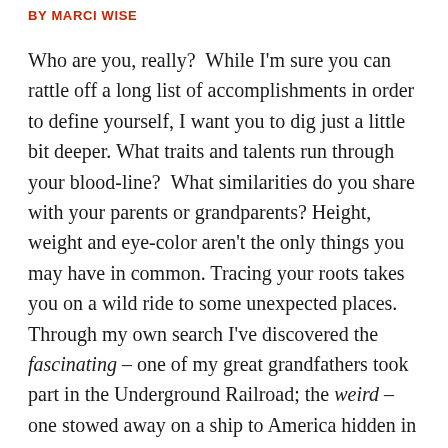BY MARCI WISE
Who are you, really?  While I'm sure you can rattle off a long list of accomplishments in order to define yourself, I want you to dig just a little bit deeper. What traits and talents run through your blood-line?  What similarities do you share with your parents or grandparents? Height, weight and eye-color aren't the only things you may have in common. Tracing your roots takes you on a wild ride to some unexpected places. Through my own search I've discovered the fascinating – one of my great grandfathers took part in the Underground Railroad; the weird – one stowed away on a ship to America hidden in a pickle barrel; and the unbelievable – both my father and my grandfather